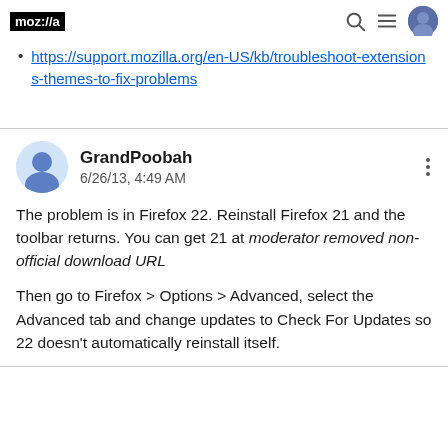moz://a
https://support.mozilla.org/en-US/kb/troubleshoot-extensions-themes-to-fix-problems
GrandPoobah
6/26/13, 4:49 AM
The problem is in Firefox 22. Reinstall Firefox 21 and the toolbar returns. You can get 21 at moderator removed non-official download URL

Then go to Firefox > Options > Advanced, select the Advanced tab and change updates to Check For Updates so 22 doesn't automatically reinstall itself.